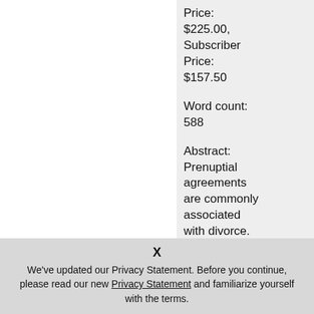Price: $225.00, Subscriber Price: $157.50
Word count: 588
Abstract: Prenuptial agreements are commonly associated with divorce. And while such an agreement provides a
X
We've updated our Privacy Statement. Before you continue, please read our new Privacy Statement and familiarize yourself with the terms.